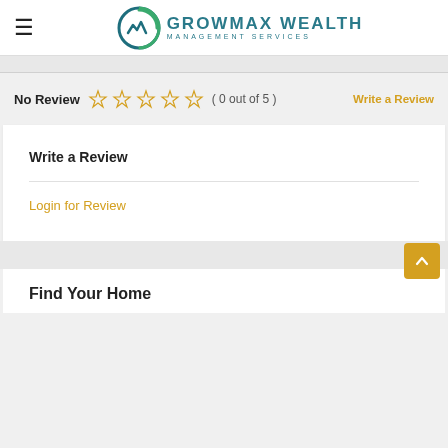GROWMAX WEALTH MANAGEMENT SERVICES
No Review ☆☆☆☆☆ ( 0 out of 5 )   Write a Review
Write a Review
Login for Review
Find Your Home